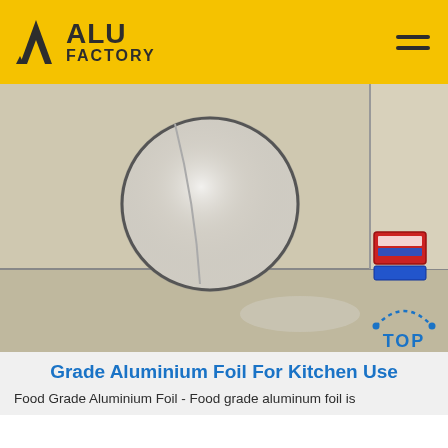ALU FACTORY
[Figure (photo): Large sheets of aluminium foil laid flat on a surface, with a circular hole cut out of one sheet revealing a bright reflective surface beneath; a small red and blue label is visible on the right side.]
Grade Aluminium Foil For Kitchen Use
Food Grade Aluminium Foil - Food grade aluminum foil is